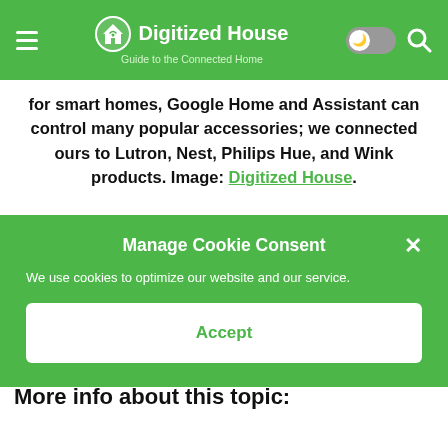Digitized House — Guide to the Connected Home
for smart homes, Google Home and Assistant can control many popular accessories; we connected ours to Lutron, Nest, Philips Hue, and Wink products. Image: Digitized House.
Manage Cookie Consent
×
We use cookies to optimize our website and our service.
Accept
More info about this topic: